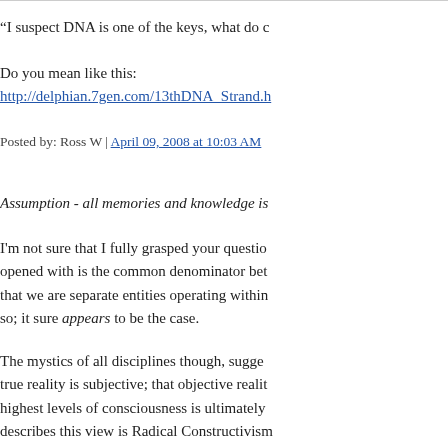"I suspect DNA is one of the keys, what do c
Do you mean like this:
http://delphian.7gen.com/13thDNA_Strand.h
Posted by: Ross W | April 09, 2008 at 10:03 AM
Assumption - all memories and knowledge is
I'm not sure that I fully grasped your questio opened with is the common denominator bet that we are separate entities operating within so; it sure appears to be the case.
The mystics of all disciplines though, sugg true reality is subjective; that objective realit highest levels of consciousness is ultimately describes this view is Radical Constructivism view is available at the current issue of http:// matters.org/ojs/index.php/antimatters/article/ explored in depth at the http://www.univie.ac Foundations web site. This approach is succi AntiMatters link as follows: